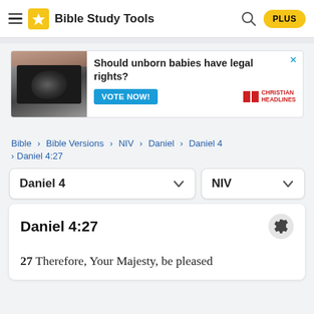Bible Study Tools
[Figure (screenshot): Advertisement banner: 'Should unborn babies have legal rights? VOTE NOW!' with ultrasound image and Christian Headlines branding]
Bible > Bible Versions > NIV > Daniel > Daniel 4 > Daniel 4:27
Daniel 4 (dropdown) | NIV (dropdown)
Daniel 4:27
27 Therefore, Your Majesty, be pleased